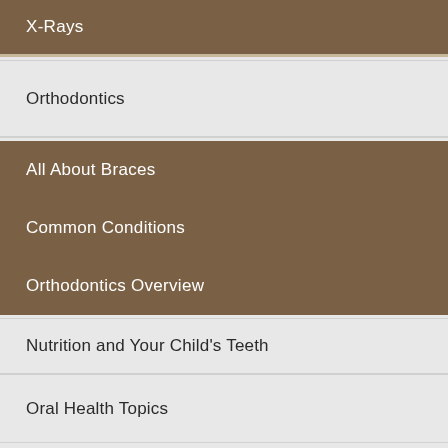X-Rays
Orthodontics
All About Braces
Common Conditions
Orthodontics Overview
Nutrition and Your Child's Teeth
Oral Health Topics